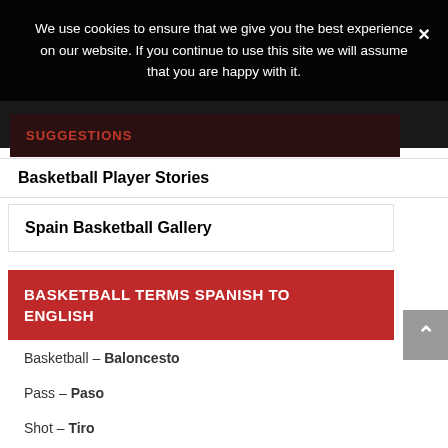We use cookies to ensure that we give you the best experience on our website. If you continue to use this site we will assume that you are happy with it.
SUGGESTIONS
Basketball Player Stories
Spain Basketball Gallery
BASKETBALL TERMS SPANISH TO ENGLISH
Basketball – Baloncesto
Pass – Paso
Shot – Tiro